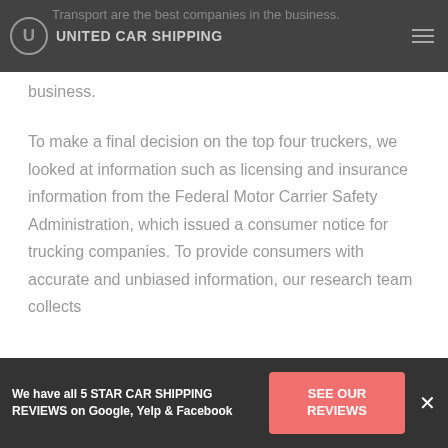UNITED CAR SHIPPING
Transport are the best companies in the business.
To make a final decision on the top four truckers, we looked at information such as licensing and insurance information from the Federal Motor Carrier Safety Administration, which issued a consumer notice for trucking companies. To provide consumers with accurate and unbiased information, our research team collects
We have all 5 STAR CAR SHIPPING REVIEWS on Google, Yelp & Facebook
SEE OUR REVIEWS